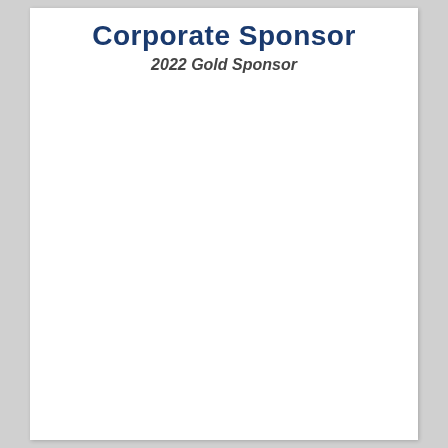Corporate Sponsor
2022 Gold Sponsor